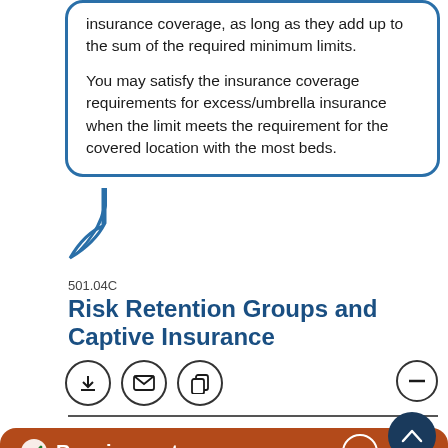insurance coverage, as long as they add up to the sum of the required minimum limits.

You may satisfy the insurance coverage requirements for excess/umbrella insurance when the limit meets the requirement for the covered location with the most beds.
501.04C
Risk Retention Groups and Captive Insurance
[Figure (infographic): Three circular icon buttons: download, email, copy; and a minus/collapse circle button on the right]
Requirements